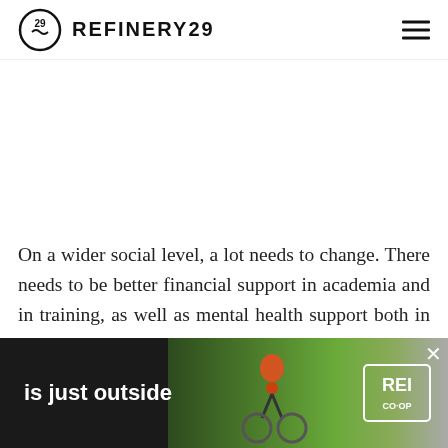REFINERY29
On a wider social level, a lot needs to change. There needs to be better financial support in academia and in training, as well as mental health support both in academia and in the world of work. Big companies need to be shamed for exploiting people by making them work for free in internships with no view to a role at the end, and voluntary positions should be more widely available.
[Figure (screenshot): REI Co-op advertisement overlay with text 'is just outside' and image of person on bicycle wearing orange helmet, with REI Co-op logo on dark background]